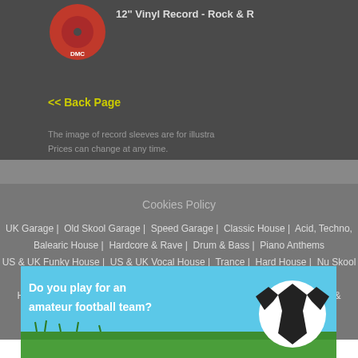[Figure (photo): Red vinyl record with DMC label, partially visible]
12" Vinyl Record - Rock & R
<< Back Page
The image of record sleeves are for illustra
Prices can change at any time.
Cookies Policy
UK Garage | Old Skool Garage | Speed Garage | Classic House | Acid, Techno, Balearic House | Hardcore & Rave | Drum & Bass | Piano Anthems US & UK Funky House | US & UK Vocal House | Trance | Hard House | Nu Skool Breaks House (1987-1994) | House (1995-2001) | House (2002-2022) | Hip-Hop & Electro | Hip-Hop & Electro LP's
Do You Need a Website Designed and Created ? Contact MarksClassics for information and pricing.
[Figure (photo): Football/soccer advertisement banner with text 'Do you play for an amateur football team?' and a soccer ball image on a grass background]